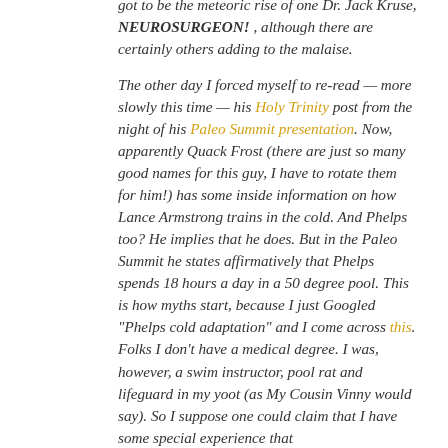got to be the meteoric rise of one Dr. Jack Kruse, NEUROSURGEON! , although there are certainly others adding to the malaise.
The other day I forced myself to re-read — more slowly this time — his Holy Trinity post from the night of his Paleo Summit presentation. Now, apparently Quack Frost (there are just so many good names for this guy, I have to rotate them for him!) has some inside information on how Lance Armstrong trains in the cold. And Phelps too? He implies that he does. But in the Paleo Summit he states affirmatively that Phelps spends 18 hours a day in a 50 degree pool. This is how myths start, because I just Googled "Phelps cold adaptation" and I come across this. Folks I don't have a medical degree. I was, however, a swim instructor, pool rat and lifeguard in my yoot (as My Cousin Vinny would say). So I suppose one could claim that I have some special experience that